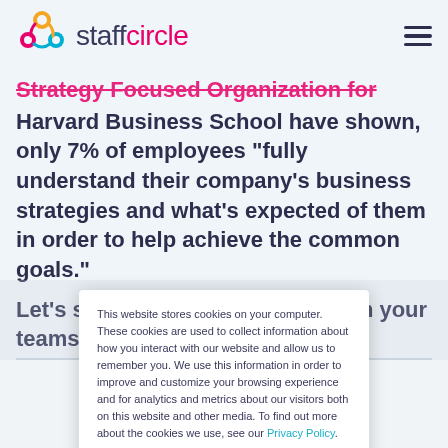staffcircle
Strategy Focused Organization for Harvard Business School have shown, only 7% of employees “fully understand their company’s business strategies and what’s expected of them in order to help achieve the common goals.”
Let’s see how you can better align your teams
This website stores cookies on your computer. These cookies are used to collect information about how you interact with our website and allow us to remember you. We use this information in order to improve and customize your browsing experience and for analytics and metrics about our visitors both on this website and other media. To find out more about the cookies we use, see our Privacy Policy.
Accept